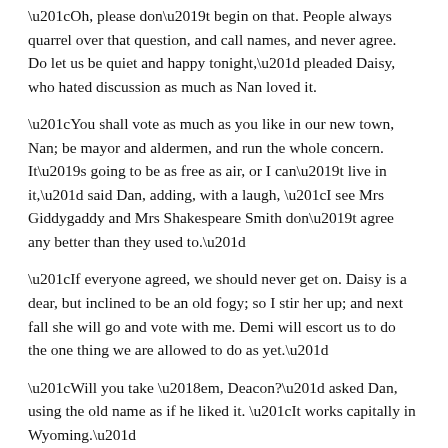“Oh, please don’t begin on that. People always quarrel over that question, and call names, and never agree. Do let us be quiet and happy tonight,” pleaded Daisy, who hated discussion as much as Nan loved it.
“You shall vote as much as you like in our new town, Nan; be mayor and aldermen, and run the whole concern. It’s going to be as free as air, or I can’t live in it,” said Dan, adding, with a laugh, “I see Mrs Giddygaddy and Mrs Shakespeare Smith don’t agree any better than they used to.”
“If everyone agreed, we should never get on. Daisy is a dear, but inclined to be an old fogy; so I stir her up; and next fall she will go and vote with me. Demi will escort us to do the one thing we are allowed to do as yet.”
“Will you take ‘em, Deacon?” asked Dan, using the old name as if he liked it. “It works capitally in Wyoming.”
“I shall be proud to do it. Mother and the aunts go every year, and Daisy will come with me. She is my better half—